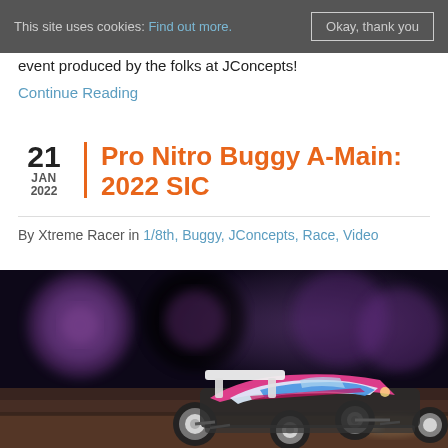This site uses cookies: Find out more. Okay, thank you
event produced by the folks at JConcepts!
Continue Reading
Pro Nitro Buggy A-Main: 2022 SIC
By Xtreme Racer in 1/8th, Buggy, JConcepts, Race, Video
[Figure (photo): RC buggy car (pink/white/blue Team Associated livery) airborne on an indoor racing track with blurred purple/dark background and fans visible.]